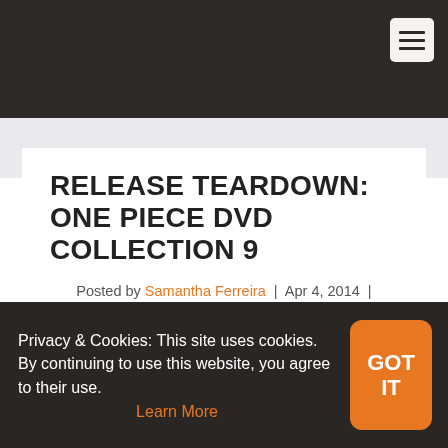RELEASE TEARDOWN: ONE PIECE DVD COLLECTION 9
Posted by Samantha Ferreira | Apr 4, 2014 | Release Teardowns | ☆☆☆☆☆
Privacy & Cookies: This site uses cookies. By continuing to use this website, you agree to their use. Learn More
GOT IT